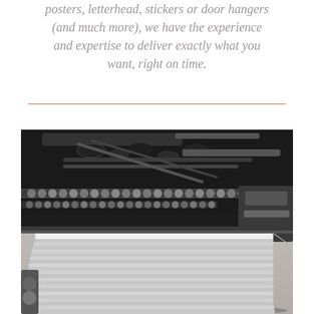posters, letterhead, stickers or door hangers (and much more), we have the experience and expertise to deliver exactly what you want, right on time.
[Figure (photo): Black and white / sepia photograph of a commercial printing press machine with stacks of white paper sheets in the foreground, mechanical components and rollers visible in the background.]